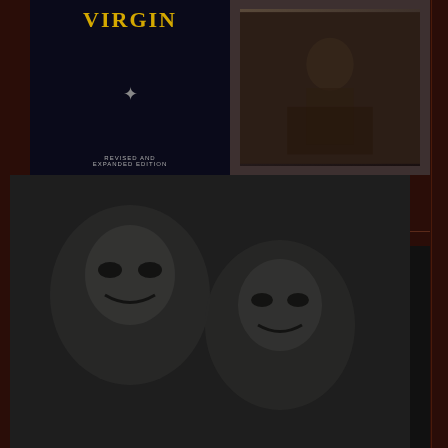[Figure (photo): Book cover of 'The Cult of the Black Virgin' by Ean Begg, Arkana edition. Left half shows dark navy cover with yellow 'VIRGIN' title text, a star/asterisk symbol, and 'REVISED AND EXPANDED EDITION' text. Right half shows a dark photograph of what appears to be a religious figure.]
Ean Begg: The Cult of the Black Virgin (Arkana)
[Figure (photo): Book cover of 'Dictionary of Deities and Demons in the Bible', Second Edition, extensively revised. Edited by Karel van der Toorn, Bob Becking and Pieter W. van der Horst. Cover shows stone carved demonic/deity faces in relief. Top left has gold/yellow panel with 'SECOND EDITION' text. Title appears in white letters on dark background with gold bullet points.]
ed. by van der Toorn, et al: Dictionary of Deities and Demons in the Bible